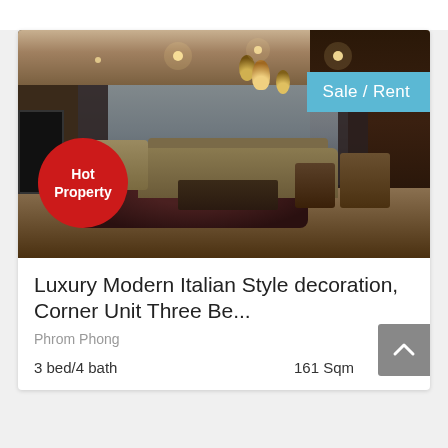[Figure (photo): Interior photo of a luxury modern living room with dark curtains, pendant lights, leather sofa, armchair, coffee table, and hardwood floors. 'Hot Property' red circle badge on lower left. 'Sale / Rent' blue badge on upper right.]
Luxury Modern Italian Style decoration, Corner Unit Three Be...
Phrom Phong
3 bed/4 bath
161 Sqm